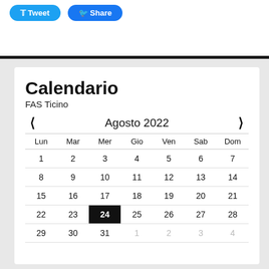[Figure (other): Social share buttons: Tweet (Twitter blue) and Share (Facebook blue)]
Calendario
FAS Ticino
| Lun | Mar | Mer | Gio | Ven | Sab | Dom |
| --- | --- | --- | --- | --- | --- | --- |
| 1 | 2 | 3 | 4 | 5 | 6 | 7 |
| 8 | 9 | 10 | 11 | 12 | 13 | 14 |
| 15 | 16 | 17 | 18 | 19 | 20 | 21 |
| 22 | 23 | 24 | 25 | 26 | 27 | 28 |
| 29 | 30 | 31 | 1 | 2 | 3 | 4 |